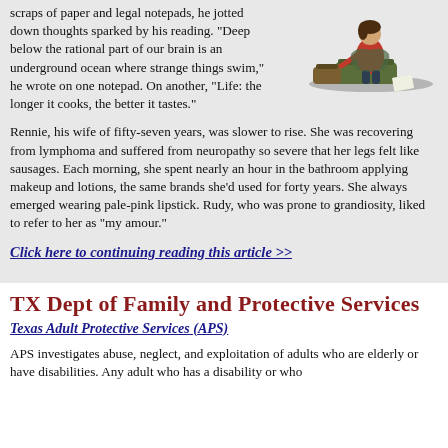scraps of paper and legal notepads, he jotted down thoughts sparked by his reading. “Deep below the rational part of our brain is an underground ocean where strange things swim,” he wrote on one notepad. On another, “Life: the longer it cooks, the better it tastes.”
[Figure (illustration): Illustration of a woman in red top sitting on luggage/bags]
Rennie, his wife of fifty-seven years, was slower to rise. She was recovering from lymphoma and suffered from neuropathy so severe that her legs felt like sausages. Each morning, she spent nearly an hour in the bathroom applying makeup and lotions, the same brands she’d used for forty years. She always emerged wearing pale-pink lipstick. Rudy, who was prone to grandiosity, liked to refer to her as “my amour.”
Click here to continuing reading this article >>
TX Dept of Family and Protective Services
Texas Adult Protective Services (APS)
APS investigates abuse, neglect, and exploitation of adults who are elderly or have disabilities. Any adult who has a disability or who